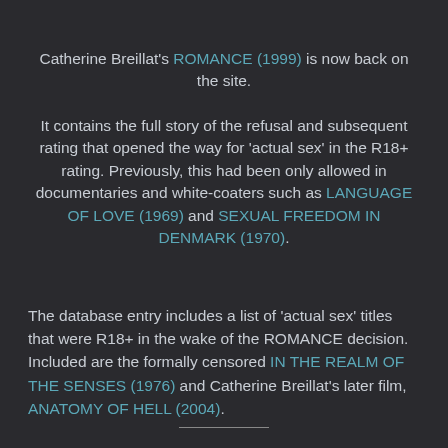Catherine Breillat's ROMANCE (1999) is now back on the site.
It contains the full story of the refusal and subsequent rating that opened the way for ‘actual sex’ in the R18+ rating. Previously, this had been only allowed in documentaries and white-coaters such as LANGUAGE OF LOVE (1969) and SEXUAL FREEDOM IN DENMARK (1970).
The database entry includes a list of ‘actual sex’ titles that were R18+ in the wake of the ROMANCE decision. Included are the formally censored IN THE REALM OF THE SENSES (1976) and Catherine Breillat’s later film, ANATOMY OF HELL (2004).